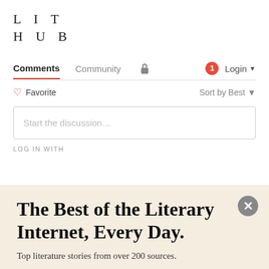LIT HUB
Comments | Community | Login
Favorite | Sort by Best
Start the discussion…
LOG IN WITH
The Best of the Literary Internet, Every Day.
Top literature stories from over 200 sources.
SUBSCRIBE